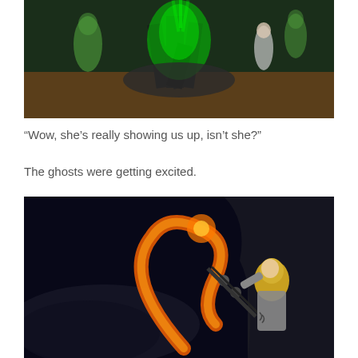[Figure (screenshot): Video game screenshot showing green glowing figures near a stone monument/altar with bright green light emanating from it, nighttime outdoor scene]
“Wow, she’s really showing us up, isn’t she?”
The ghosts were getting excited.
[Figure (screenshot): Video game screenshot showing a blonde female character shooting a flaming bow and arrow, with an arc of fire visible, dark nighttime rocky setting]